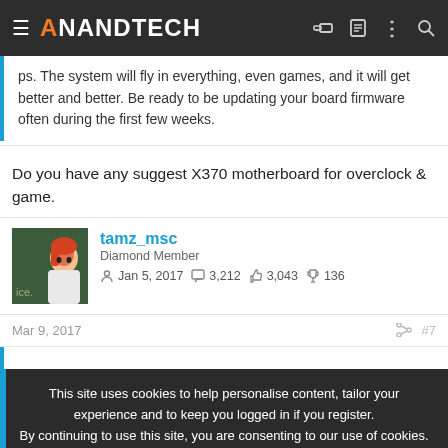AnandTech
ps. The system will fly in everything, even games, and it will get better and better. Be ready to be updating your board firmware often during the first few weeks.
Do you have any suggest X370 motherboard for overclock & game.
tamz_msc
Diamond Member
Jan 5, 2017  3,212  3,043  136
Mar 9, 2017  #7
This site uses cookies to help personalise content, tailor your experience and to keep you logged in if you register.
By continuing to use this site, you are consenting to our use of cookies.
Dulles  OPEN  10AM–8PM